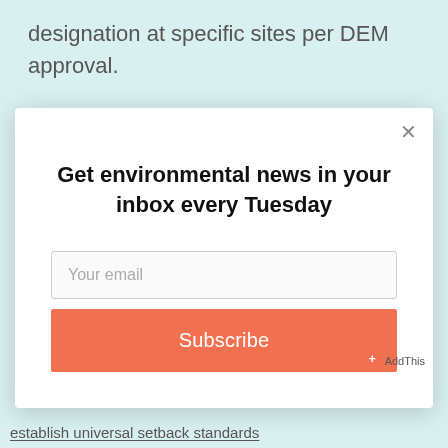designation at specific sites per DEM approval.
[Figure (screenshot): Modal popup with newsletter subscription form. Title: 'Get environmental news in your inbox every Tuesday'. Contains an email input field with placeholder 'Your email' and an orange Subscribe button. Close (×) button in top right. AddThis badge in bottom right corner.]
establish universal setback standards